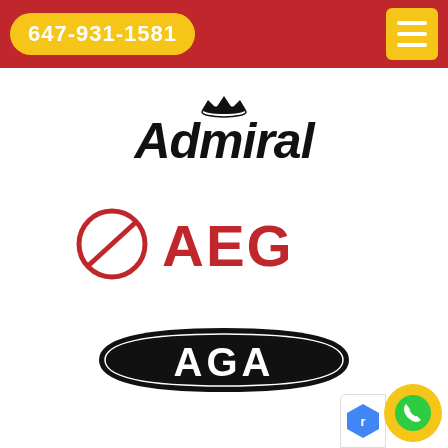647-931-1581
[Figure (logo): Admiral appliance brand logo in bold black italic font with a crown emblem above]
[Figure (logo): AEG logo in red with Electrolux circle symbol on the left]
[Figure (logo): AGA logo: white bold text on black lens/shield shape with thin border]
[Figure (logo): Amana brand logo in bold black italic font, partially visible at bottom]